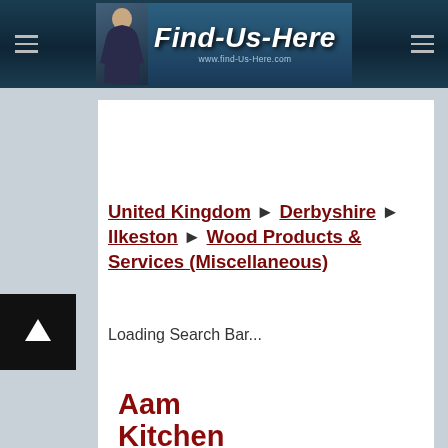Find-Us-Here www.find-us-here.com
United Kingdom ► Derbyshire ► Ilkeston ► Wood Products & Services (Miscellaneous)
Loading Search Bar...
Aam Kitchen Install...